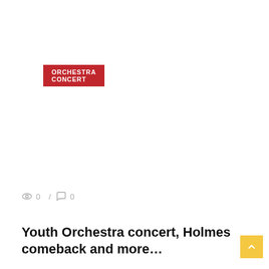ORCHESTRA CONCERT
0 / 0
Youth Orchestra concert, Holmes comeback and more…